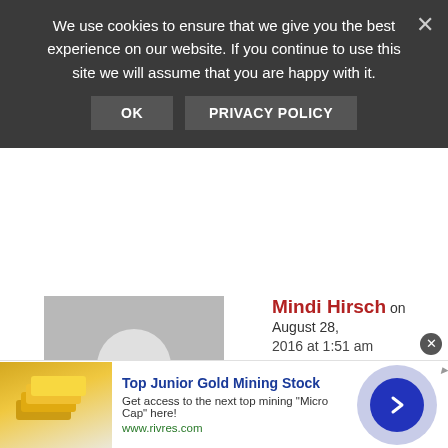We use cookies to ensure that we give you the best experience on our website. If you continue to use this site we will assume that you are happy with it.
OK   PRIVACY POLICY
Mindi Hirsch on August 28, 2016 at 1:51 am
Yes, you've convinced me! Jamaica looks beautiful and more than the party scene that I imagined.
REPLY
Top Junior Gold Mining Stock
Get access to the next top mining "Micro Cap" here!
www.rivres.com